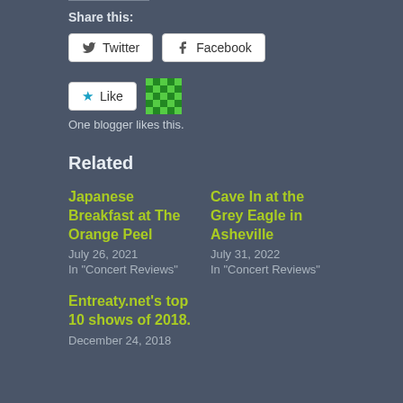Share this:
Twitter  Facebook
[Figure (other): Like button with star icon and a pixelated avatar icon beside it]
One blogger likes this.
Related
Japanese Breakfast at The Orange Peel
July 26, 2021
In "Concert Reviews"
Cave In at the Grey Eagle in Asheville
July 31, 2022
In "Concert Reviews"
Entreaty.net's top 10 shows of 2018.
December 24, 2018